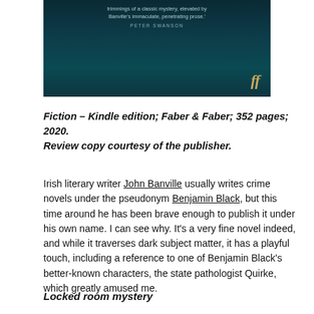[Figure (illustration): Book cover image with dark teal/navy background showing a partial quote and the Faber & Faber double-f logo in gold at bottom right. Quote text reads: 'trimmings of a classic mystery, elevated by Banville's immaculate, penetrating prose.' PETER SWANSON]
Fiction – Kindle edition; Faber & Faber; 352 pages; 2020. Review copy courtesy of the publisher.
Irish literary writer John Banville usually writes crime novels under the pseudonym Benjamin Black, but this time around he has been brave enough to publish it under his own name. I can see why. It's a very fine novel indeed, and while it traverses dark subject matter, it has a playful touch, including a reference to one of Benjamin Black's better-known characters, the state pathologist Quirke, which greatly amused me.
Locked room mystery